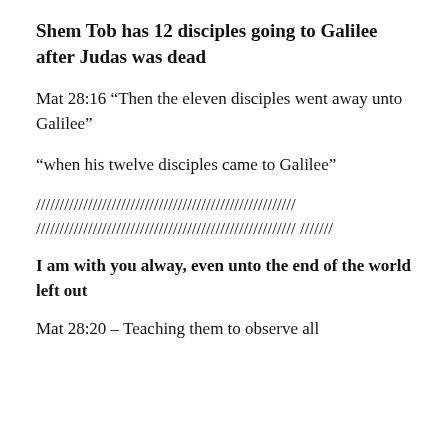Shem Tob has 12 disciples going to Galilee after Judas was dead
Mat 28:16 “Then the eleven disciples went away unto Galilee”
“when his twelve disciples came to Galilee”
/////////////////////////////////////////////////////// /////////////////////////////////////////////////////// ///////
I am with you alway, even unto the end of the world left out
Mat 28:20 – Teaching them to observe all